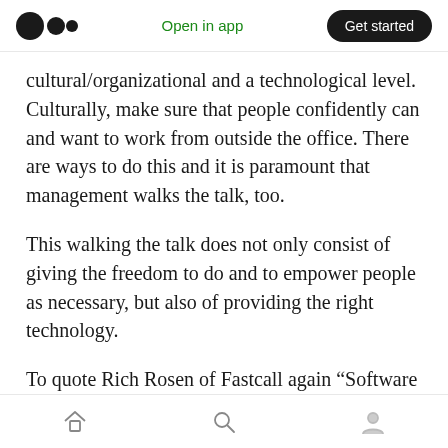Open in app | Get started
cultural/organizational and a technological level. Culturally, make sure that people confidently can and want to work from outside the office. There are ways to do this and it is paramount that management walks the talk, too.
This walking the talk does not only consist of giving the freedom to do and to empower people as necessary, but also of providing the right technology.
To quote Rich Rosen of Fastcall again “Software is in the cloud — so that is anywhere. Employees
Home | Search | Profile